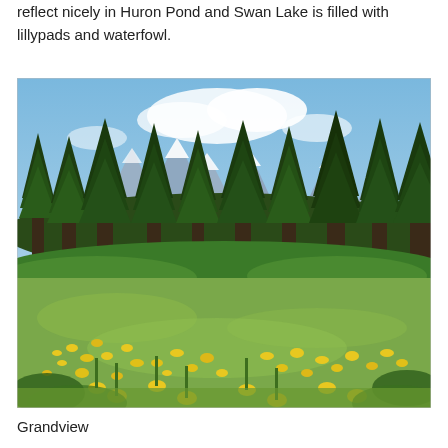reflect nicely in Huron Pond and Swan Lake is filled with lillypads and waterfowl.
[Figure (photo): Landscape photograph showing a meadow of yellow wildflowers in the foreground, a dense forest of tall evergreen trees in the middle ground, and snow-capped mountain peaks (Grand Tetons) under a partly cloudy blue sky in the background.]
Grandview